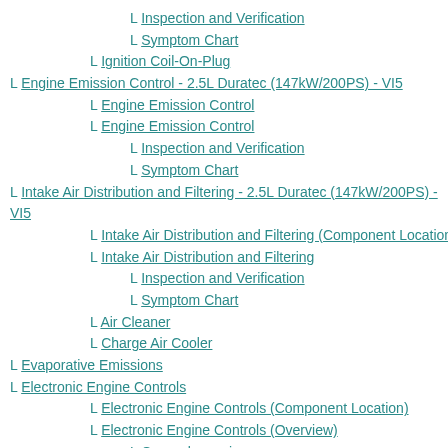L Inspection and Verification
L Symptom Chart
L Ignition Coil-On-Plug
L Engine Emission Control - 2.5L Duratec (147kW/200PS) - VI5
L Engine Emission Control
L Engine Emission Control
L Inspection and Verification
L Symptom Chart
L Intake Air Distribution and Filtering - 2.5L Duratec (147kW/200PS) - VI5
L Intake Air Distribution and Filtering (Component Location)
L Intake Air Distribution and Filtering
L Inspection and Verification
L Symptom Chart
L Air Cleaner
L Charge Air Cooler
L Evaporative Emissions
L Electronic Engine Controls
L Electronic Engine Controls (Component Location)
L Electronic Engine Controls (Overview)
L General overview
L Powertrain Control Module (PCM)
L Knock Sensor